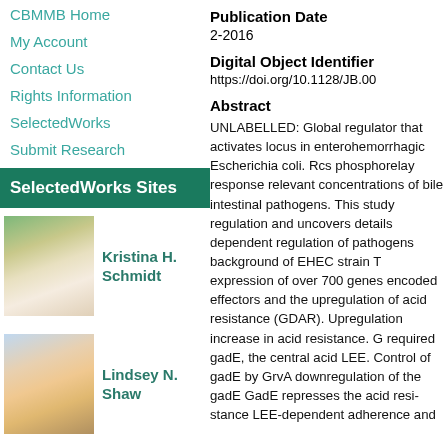CBMMB Home
My Account
Contact Us
Rights Information
SelectedWorks
Submit Research
SelectedWorks Sites
[Figure (photo): Photo of Kristina H. Schmidt]
Kristina H. Schmidt
[Figure (photo): Photo of Lindsey N. Shaw]
Lindsey N. Shaw
Publication Date
2-2016
Digital Object Identifier
https://doi.org/10.1128/JB.00
Abstract
UNLABELLED: Global regulator that activates locus in enterohemorrhagic Escherichia coli. Rcs phosphorelay response relevant concentrations of bile intestinal pathogens. This study regulation and uncovers details dependent regulation of pathogens background of EHEC strain T expression of over 700 genes encoded effectors and the upregulation of acid resistance (GDAR). Upregulation increase in acid resistance. G required gadE, the central acid LEE. Control of gadE by GrvA downregulation of the gadE GadE represses the acid resistance LEE-dependent adherence and